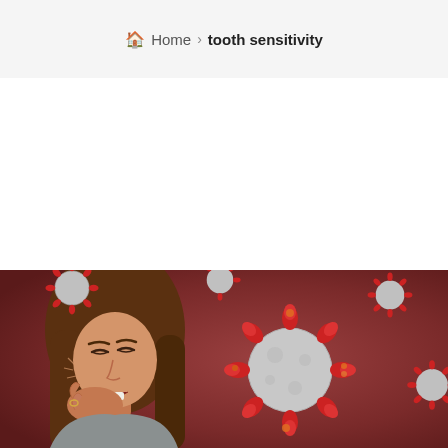Home > tooth sensitivity
[Figure (photo): A woman wincing in pain holding her jaw (tooth pain) on the left, with a 3D illustration of coronavirus particles on a dark red background on the right.]